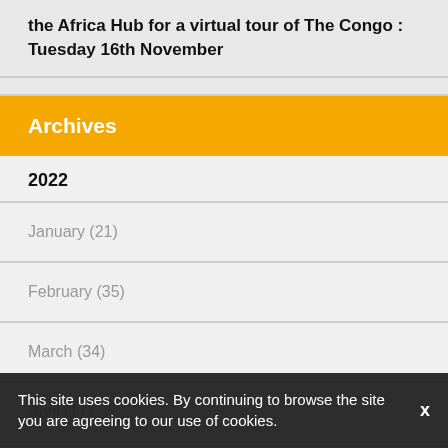the Africa Hub for a virtual tour of The Congo : Tuesday 16th November
Archives
2022
January (21)
February (35)
March (34)
April (17)
This site uses cookies. By continuing to browse the site you are agreeing to our use of cookies.